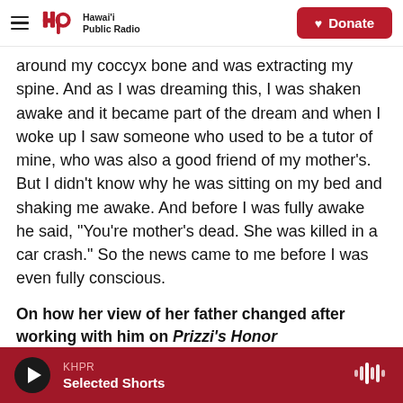Hawai'i Public Radio — Donate
around my coccyx bone and was extracting my spine. And as I was dreaming this, I was shaken awake and it became part of the dream and when I woke up I saw someone who used to be a tutor of mine, who was also a good friend of my mother's. But I didn't know why he was sitting on my bed and shaking me awake. And before I was fully awake he said, "You're mother's dead. She was killed in a car crash." So the news came to me before I was even fully conscious.
On how her view of her father changed after working with him on Prizzi's Honor
KHPR — Selected Shorts